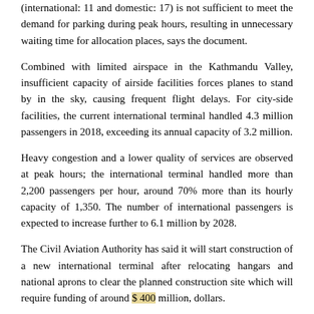(international: 11 and domestic: 17) is not sufficient to meet the demand for parking during peak hours, resulting in unnecessary waiting time for allocation places, says the document.
Combined with limited airspace in the Kathmandu Valley, insufficient capacity of airside facilities forces planes to stand by in the sky, causing frequent flight delays. For city-side facilities, the current international terminal handled 4.3 million passengers in 2018, exceeding its annual capacity of 3.2 million.
Heavy congestion and a lower quality of services are observed at peak hours; the international terminal handled more than 2,200 passengers per hour, around 70% more than its hourly capacity of 1,350. The number of international passengers is expected to increase further to 6.1 million by 2028.
The Civil Aviation Authority has said it will start construction of a new international terminal after relocating hangars and national aprons to clear the planned construction site which will require funding of around $ 400 million, dollars.